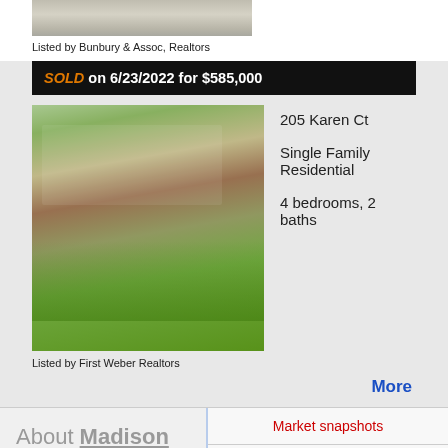[Figure (photo): Partial top photo of a property listing, cropped, showing roof/exterior]
Listed by Bunbury & Assoc, Realtors
SOLD on 6/23/2022 for $585,000
[Figure (photo): Photo of 205 Karen Ct - Single Family Residential home with large front yard and trees]
205 Karen Ct
Single Family Residential
4 bedrooms, 2 baths
Listed by First Weber Realtors
More
About Madison
Market snapshots
Nearby points of interest
Schools